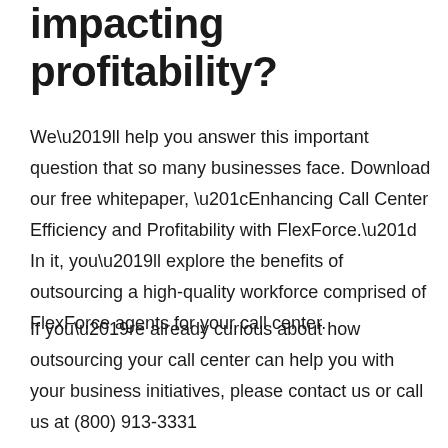impacting profitability?
We'll help you answer this important question that so many businesses face. Download our free whitepaper, “Enhancing Call Center Efficiency and Profitability with FlexForce.” In it, you’ll explore the benefits of outsourcing a high-quality workforce comprised of FlexForce agents for your call center.
If you’re already curious about how outsourcing your call center can help you with your business initiatives, please contact us or call us at (800) 913-3331